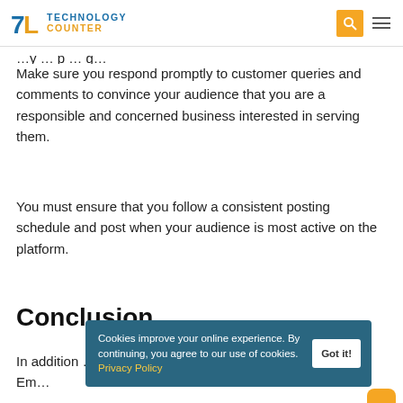Technology Counter
Make sure you respond promptly to customer queries and comments to convince your audience that you are a responsible and concerned business interested in serving them.
You must ensure that you follow a consistent posting schedule and post when your audience is most active on the platform.
Conclusion
In addition … consider using SEO … results pages. Em… … s like
Cookies improve your online experience. By continuing, you agree to our use of cookies. Privacy Policy